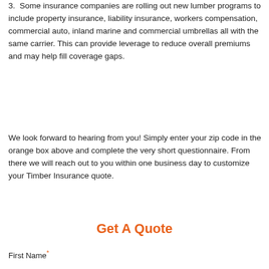3. Some insurance companies are rolling out new lumber programs to include property insurance, liability insurance, workers compensation, commercial auto, inland marine and commercial umbrellas all with the same carrier. This can provide leverage to reduce overall premiums and may help fill coverage gaps.
We look forward to hearing from you! Simply enter your zip code in the orange box above and complete the very short questionnaire. From there we will reach out to you within one business day to customize your Timber Insurance quote.
Get A Quote
First Name*